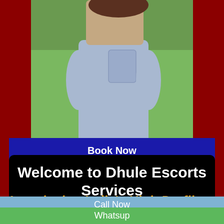[Figure (photo): Photo of a woman from behind wearing jeans and a red top, outdoors with green background]
Book Now
Call Now +91 7378811451
Welcome to Dhule Escorts Services
Introducing India's High Profile
Call Now
Whatsup